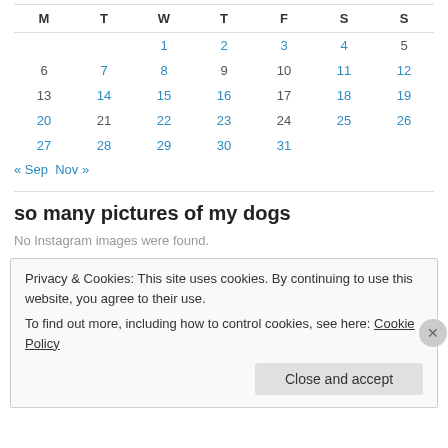| M | T | W | T | F | S | S |
| --- | --- | --- | --- | --- | --- | --- |
|  |  | 1 | 2 | 3 | 4 | 5 |
| 6 | 7 | 8 | 9 | 10 | 11 | 12 |
| 13 | 14 | 15 | 16 | 17 | 18 | 19 |
| 20 | 21 | 22 | 23 | 24 | 25 | 26 |
| 27 | 28 | 29 | 30 | 31 |  |  |
« Sep   Nov »
so many pictures of my dogs
No Instagram images were found.
Privacy & Cookies: This site uses cookies. By continuing to use this website, you agree to their use.
To find out more, including how to control cookies, see here: Cookie Policy